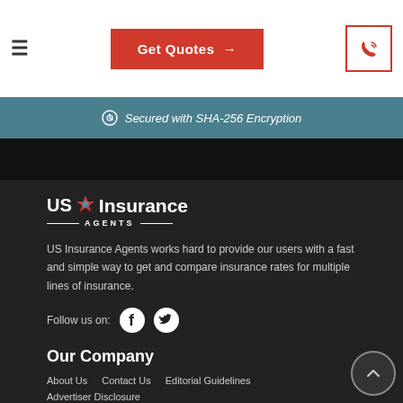≡   Get Quotes →   [phone icon]
Secured with SHA-256 Encryption
[Figure (logo): US Insurance Agents logo with star icon]
US Insurance Agents works hard to provide our users with a fast and simple way to get and compare insurance rates for multiple lines of insurance.
Follow us on:
Our Company
About Us   Contact Us   Editorial Guidelines
Advertiser Disclosure